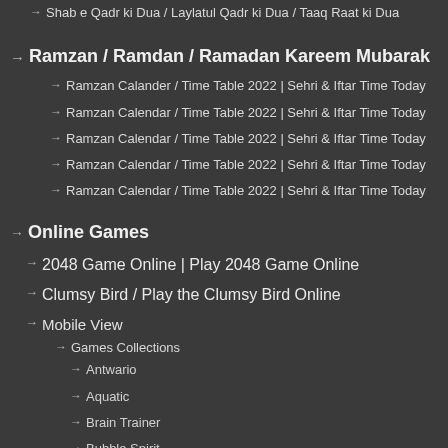Shab e Qadr ki Dua / Laylatul Qadr ki Dua / Taaq Raat ki Dua
Ramzan / Ramdan / Ramadan Kareem Mubarak
Ramzan Calander / Time Table 2022 | Sehri & Iftar Time Today
Ramzan Calendar / Time Table 2022 | Sehri & Iftar Time Today
Ramzan Calendar / Time Table 2022 | Sehri & Iftar Time Today
Ramzan Calendar / Time Table 2022 | Sehri & Iftar Time Today
Ramzan Calendar / Time Table 2022 | Sehri & Iftar Time Today
Online Games
2048 Game Online | Play 2048 Game Online
Clumsy Bird / Play the Clumsy Bird Online
Mobile View
Games Collections
Antwario
Aquatic
Brain Trainer
Bubble Spirit
Checkerz Mania
Chess Mania